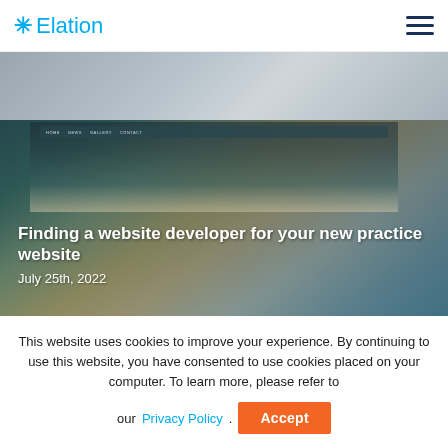Elation
[Figure (screenshot): Partial screenshot of a website showing a blurred/cropped top image strip with grey/blue tones]
[Figure (photo): Hero image showing a website on a monitor and hands pointing at a hand-drawn website wireframe on paper, with keyboard, glasses, headphones visible. Overlaid text reads: Finding a website developer for your new practice website. July 25th, 2022.]
Finding a website developer for your new practice website
July 25th, 2022
This website uses cookies to improve your experience. By continuing to use this website, you have consented to use cookies placed on your computer. To learn more, please refer to our Privacy Policy.
Accept